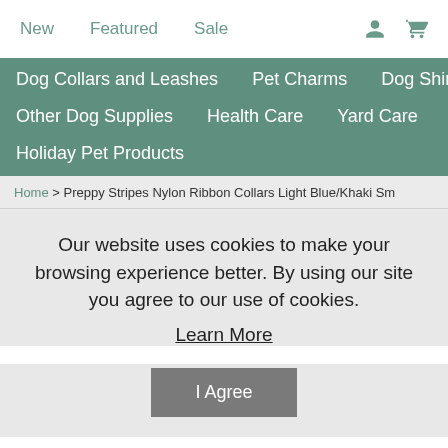New   Featured   Sale
Dog Collars and Leashes   Pet Charms   Dog Shirts   Other Dog Supplies   Health Care   Yard Care   Travel   Holiday Pet Products
Home > Preppy Stripes Nylon Ribbon Collars Light Blue/Khaki Sm
Our website uses cookies to make your browsing experience better. By using our site you agree to our use of cookies. Learn More
I Agree